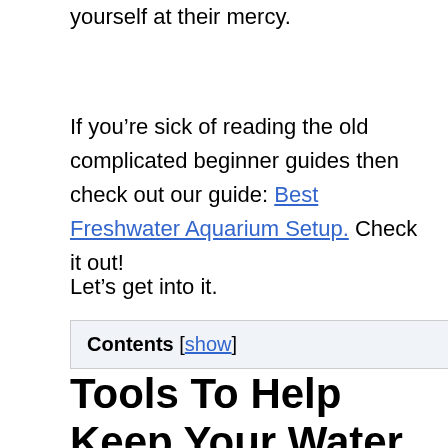yourself at their mercy.
If you’re sick of reading the old complicated beginner guides then check out our guide: Best Freshwater Aquarium Setup. Check it out!
Let’s get into it.
Contents [show]
Tools To Help Keep Your Water Clean